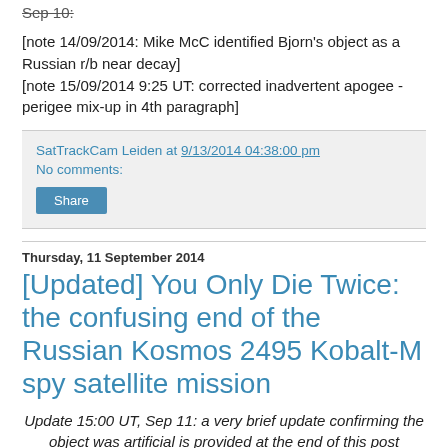Sep 10:
[note 14/09/2014: Mike McC identified Bjorn's object as a Russian r/b near decay]
[note 15/09/2014 9:25 UT: corrected inadvertent apogee - perigee mix-up in 4th paragraph]
SatTrackCam Leiden at 9/13/2014 04:38:00 pm
No comments:
Share
Thursday, 11 September 2014
[Updated] You Only Die Twice: the confusing end of the Russian Kosmos 2495 Kobalt-M spy satellite mission
Update 15:00 UT, Sep 11: a very brief update confirming the object was artificial is provided at the end of this post
Introduction: a spectacular fireball over the USA